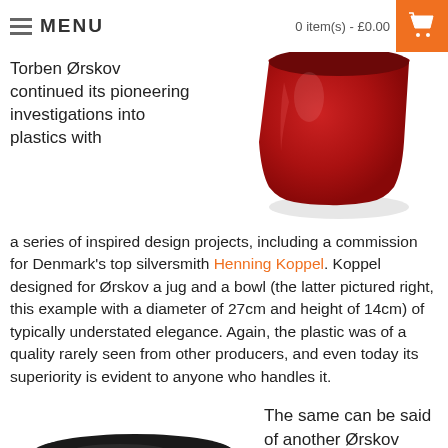MENU | 0 item(s) - £0.00
[Figure (photo): Red plastic bowl/vase with wide mouth, viewed from side, on white background]
Torben Ørskov continued its pioneering investigations into plastics with a series of inspired design projects, including a commission for Denmark's top silversmith Henning Koppel. Koppel designed for Ørskov a jug and a bowl (the latter pictured right, this example with a diameter of 27cm and height of 14cm) of typically understated elegance. Again, the plastic was of a quality rarely seen from other producers, and even today its superiority is evident to anyone who handles it.
[Figure (photo): Black and red plastic bowls/cups on white background]
The same can be said of another Ørskov creation,